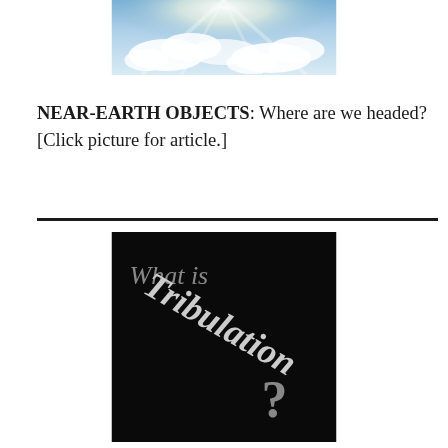[Figure (photo): Sky with clouds and light rays shining through, partial view (top portion of image)]
NEAR-EARTH OBJECTS: Where are we headed?
[Click picture for article.]
[Figure (photo): Black background image with text 'What is Tribulation?' written in grey/white stylized lettering with a question mark]